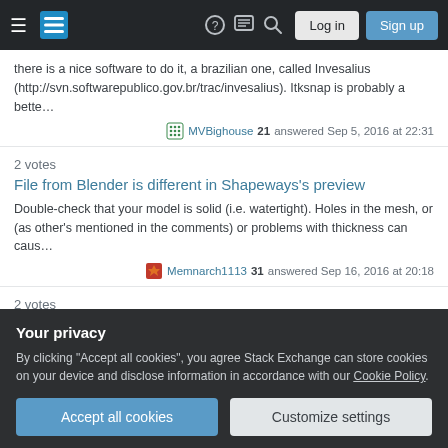Stack Exchange navigation bar with hamburger menu, logo, help, chat, search, Log in, Sign up
there is a nice software to do it, a brazilian one, called Invesalius (http://svn.softwarepublico.gov.br/trac/invesalius). Itksnap is probably a bette…
MVBighouse 21 answered Sep 5, 2016 at 22:31
2 votes
File from Blender is different in Shapeways's preview
Double-check that your model is solid (i.e. watertight). Holes in the mesh, or (as other's mentioned in the comments) or problems with thickness can caus…
Memnarch1113 31 answered Sep 16, 2016 at 20:18
2 votes
Your privacy
By clicking "Accept all cookies", you agree Stack Exchange can store cookies on your device and disclose information in accordance with our Cookie Policy.
Accept all cookies
Customize settings
import into Blender